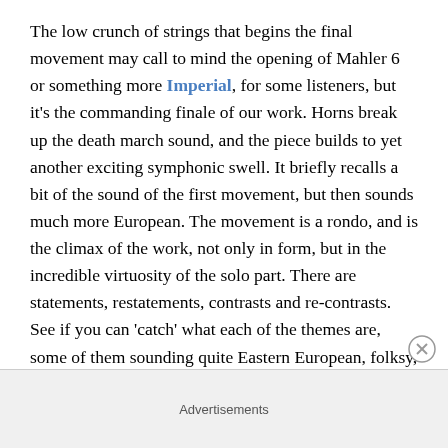The low crunch of strings that begins the final movement may call to mind the opening of Mahler 6 or something more Imperial, for some listeners, but it's the commanding finale of our work. Horns break up the death march sound, and the piece builds to yet another exciting symphonic swell. It briefly recalls a bit of the sound of the first movement, but then sounds much more European. The movement is a rondo, and is the climax of the work, not only in form, but in the incredible virtuosity of the solo part. There are statements, restatements, contrasts and re-contrasts. See if you can 'catch' what each of the themes are, some of them sounding quite Eastern European, folksy,
Advertisements